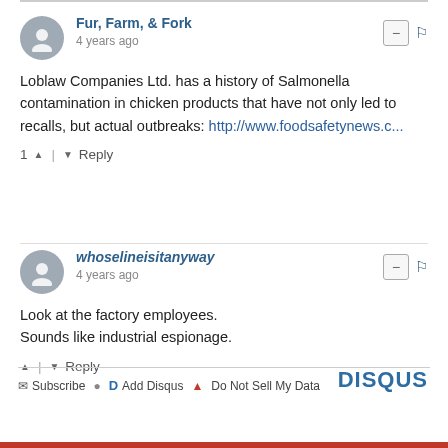Fur, Farm, & Fork
4 years ago
Loblaw Companies Ltd. has a history of Salmonella contamination in chicken products that have not only led to recalls, but actual outbreaks: http://www.foodsafetynews.c...
1 ↑ | ↓ Reply
whoselineisitanyway
4 years ago
Look at the factory employees.
Sounds like industrial espionage.
↑ | ↓ Reply
Subscribe  Add Disqus  Do Not Sell My Data  DISQUS